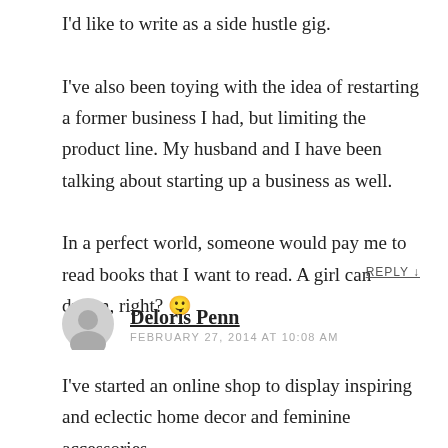I'd like to write as a side hustle gig. I've also been toying with the idea of restarting a former business I had, but limiting the product line. My husband and I have been talking about starting up a business as well.

In a perfect world, someone would pay me to read books that I want to read. A girl can dream, right? 🙂
REPLY ↓
Deloris Penn
FEBRUARY 27, 2014 AT 10:08 AM
I've started an online shop to display inspiring and eclectic home decor and feminine accessories